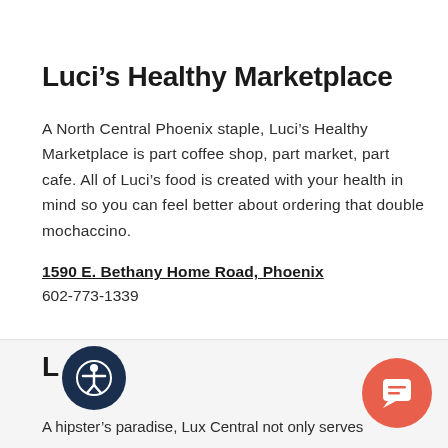Luci's Healthy Marketplace
A North Central Phoenix staple, Luci's Healthy Marketplace is part coffee shop, part market, part cafe. All of Luci's food is created with your health in mind so you can feel better about ordering that double mochaccino.
1590 E. Bethany Home Road, Phoenix
602-773-1339
L
A hipster's paradise, Lux Central not only serves